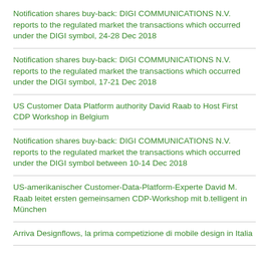Notification shares buy-back: DIGI COMMUNICATIONS N.V. reports to the regulated market the transactions which occurred under the DIGI symbol, 24-28 Dec 2018
Notification shares buy-back: DIGI COMMUNICATIONS N.V. reports to the regulated market the transactions which occurred under the DIGI symbol, 17-21 Dec 2018
US Customer Data Platform authority David Raab to Host First CDP Workshop in Belgium
Notification shares buy-back: DIGI COMMUNICATIONS N.V. reports to the regulated market the transactions which occurred under the DIGI symbol between 10-14 Dec 2018
US-amerikanischer Customer-Data-Platform-Experte David M. Raab leitet ersten gemeinsamen CDP-Workshop mit b.telligent in München
Arriva Designflows, la prima competizione di mobile design in Italia